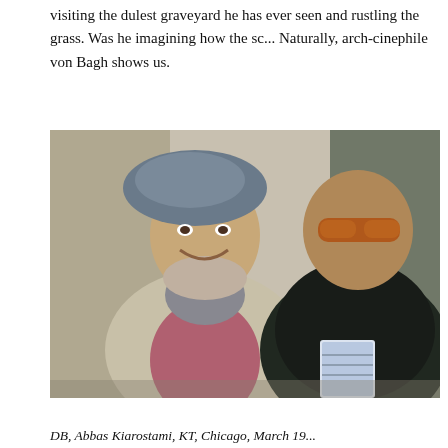visiting the dulest graveyard he has ever seen and rustling the grass. Was he imagining how the sc... Naturally, arch-cinephile von Bagh shows us.
[Figure (photo): Two men standing together indoors. The man on the left wears a grey beret-style cap, a beige jacket, pink/red shirt, and a grey scarf. He has a beard and is smiling. The man on the right wears dark sunglasses, a dark jacket, and holds a book.]
DB, Abbas Kiarostami, KT, Chicago, March 19...